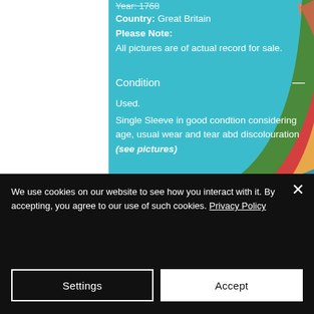[Figure (illustration): Colorful rainbow stripe pattern background with arcing multicolor bands on a teal/cyan background]
Year: 1768
Country: Great Britain
Please Note:
All pictures are of actual record for sale.
Condition
Used.
Single Sleeve in good condtion considering age, usual wear and tear abd discolouration (see pictures)
We use cookies on our website to see how you interact with it. By accepting, you agree to our use of such cookies. Privacy Policy
Settings
Accept